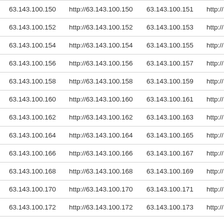| 63.143.100.150 | http://63.143.100.150 | 63.143.100.151 | http:// |
| 63.143.100.152 | http://63.143.100.152 | 63.143.100.153 | http:// |
| 63.143.100.154 | http://63.143.100.154 | 63.143.100.155 | http:// |
| 63.143.100.156 | http://63.143.100.156 | 63.143.100.157 | http:// |
| 63.143.100.158 | http://63.143.100.158 | 63.143.100.159 | http:// |
| 63.143.100.160 | http://63.143.100.160 | 63.143.100.161 | http:// |
| 63.143.100.162 | http://63.143.100.162 | 63.143.100.163 | http:// |
| 63.143.100.164 | http://63.143.100.164 | 63.143.100.165 | http:// |
| 63.143.100.166 | http://63.143.100.166 | 63.143.100.167 | http:// |
| 63.143.100.168 | http://63.143.100.168 | 63.143.100.169 | http:// |
| 63.143.100.170 | http://63.143.100.170 | 63.143.100.171 | http:// |
| 63.143.100.172 | http://63.143.100.172 | 63.143.100.173 | http:// |